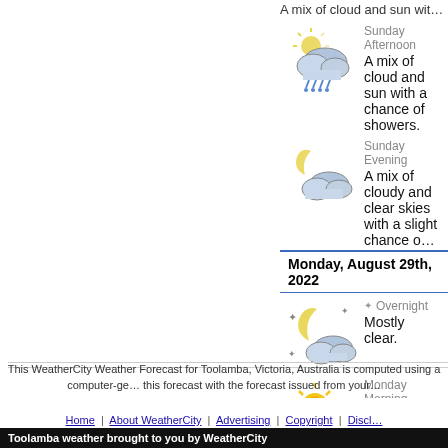A mix of cloud and sun with a slight chance of showers (truncated at top)
Sunday Afternoon – A mix of cloud and sun with a chance of showers.
Sunday Evening – A mix of cloudy and clear skies with a slight chance o…
Monday, August 29th, 2022
Overnight – Mostly clear.
Monday Morning – Sunny with cloudy periods.
Monday Afternoon – Sunny with cloudy periods. Slight chance of a thunder…
Monday Evening – Clear.
This WeatherCity Weather Forecast for Toolamba, Victoria, Australia is computed using a computer-ge… this forecast with the forecast issued from your…
Toolamba weather brought to you by WeatherCity
Home | About WeatherCity | Advertising | Copyright | Discl…